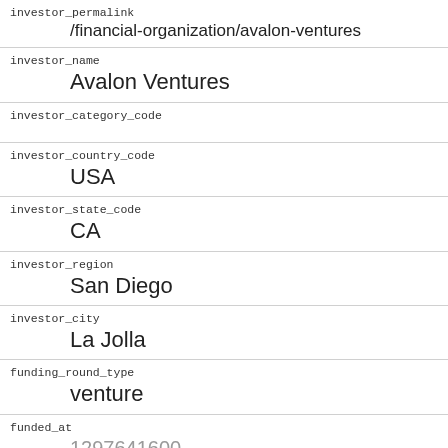| field | value |
| --- | --- |
| investor_permalink | /financial-organization/avalon-ventures |
| investor_name | Avalon Ventures |
| investor_category_code |  |
| investor_country_code | USA |
| investor_state_code | CA |
| investor_region | San Diego |
| investor_city | La Jolla |
| funding_round_type | venture |
| funded_at | 1297641600 |
| funded_year | 2011 |
| raised_amount_usd |  |